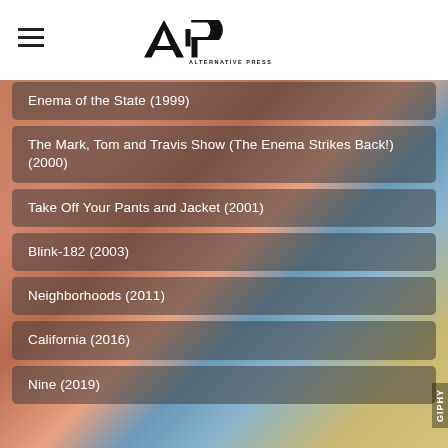AP ALTERNATIVE PRESS
Enema of the State (1999)
The Mark, Tom and Travis Show (The Enema Strikes Back!) (2000)
Take Off Your Pants and Jacket (2001)
Blink-182 (2003)
Neighborhoods (2011)
California (2016)
Nine (2019)